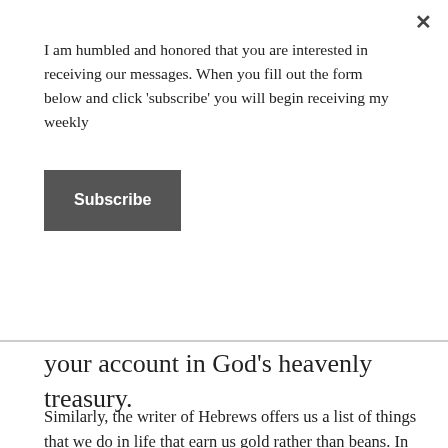I am humbled and honored that you are interested in receiving our messages. When you fill out the form below and click 'subscribe' you will begin receiving my weekly
Subscribe
your account in God's heavenly treasury.
Similarly, the writer of Hebrews offers us a list of things that we do in life that earn us gold rather than beans.  In Hebrews 13:1-8, 15-16, he says:
13:1 Keep on loving one another as brothers and sisters. 2 Do not forget to show hospitality to strangers, for by so doing some people have shown hospitality to angels without knowing it. 3 Continue